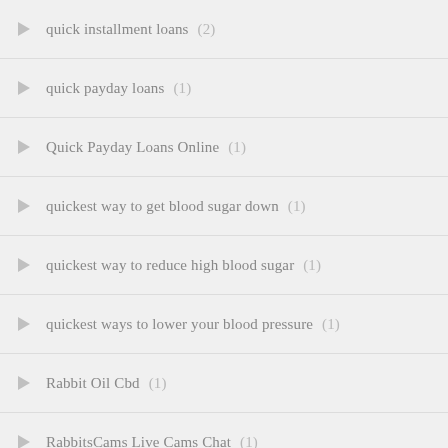quick installment loans (2)
quick payday loans (1)
Quick Payday Loans Online (1)
quickest way to get blood sugar down (1)
quickest way to reduce high blood sugar (1)
quickest ways to lower your blood pressure (1)
Rabbit Oil Cbd (1)
RabbitsCams Live Cams Chat (1)
RabbitsCams Web Cams live (1)
Real Foreign Brides (1)